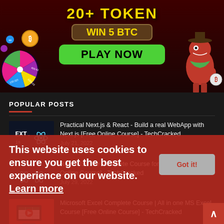[Figure (screenshot): Cryptocurrency casino advertisement banner showing '20+ TOKEN', 'WIN 5 BTC', 'PLAY NOW' button, a spin wheel on the left with values like 400.43, 1000.43, 130.523, and an orange dinosaur character on the right wearing a hat.]
POPULAR POSTS
Practical Next.js & React - Build a real WebApp with Next.js [Free Online Course] - TechCracked
July 21, 2022
React.JS: The Complete Course for Beginners [Free Online Course] - TechCracked
July 29, 2022
Microsoft Excel Complete Course | All in one MS Excel Course [Free Online Course] - TechCracked
This website uses cookies to ensure you get the best experience on our website. Learn more